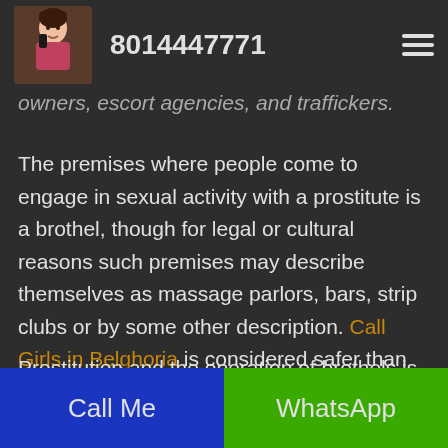8014447771
owners, escort agencies, and traffickers.
The premises where people come to engage in sexual activity with a prostitute is a brothel, though for legal or cultural reasons such premises may describe themselves as massage parlors, bars, strip clubs or by some other description. Call Girls in Belghoria is considered safer than street prostitution.
Prostitution and the operation of brothels is legal
Call Me  WhatsApp